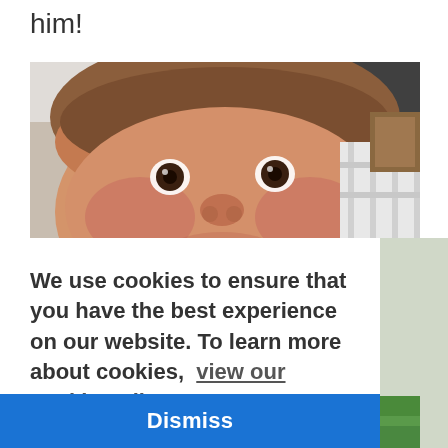him!
[Figure (photo): Close-up selfie photo of a young toddler child with brown hair and dark eyes, looking directly at the camera with a slight smile. Indoor setting visible in background with white fence and store shelving.]
We use cookies to ensure that you have the best experience on our website. To learn more about cookies,  view our cookie policy.
[Figure (other): Dismiss button bar — blue background with white bold 'Dismiss' text]
[Figure (photo): Partial bottom portion of another photo showing green grass and what appears to be a child in blue clothing]